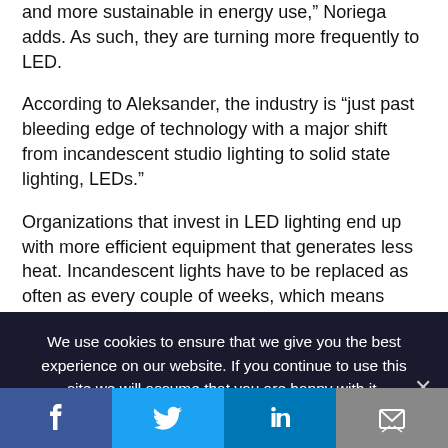and more sustainable in energy use,” Noriega adds. As such, they are turning more frequently to LED.
According to Aleksander, the industry is “just past bleeding edge of technology with a major shift from incandescent studio lighting to solid state lighting, LEDs.”
Organizations that invest in LED lighting end up with more efficient equipment that generates less heat. Incandescent lights have to be replaced as often as every couple of weeks, which means those lights are constantly being moved out of position. Aleksander
We use cookies to ensure that we give you the best experience on our website. If you continue to use this site we will assume that you are happy with it.
[Figure (infographic): Social media share bar with four buttons: Facebook (dark blue, f icon), Twitter (light blue, bird icon), LinkedIn (medium blue, in icon), Email/share (grey, envelope icon)]